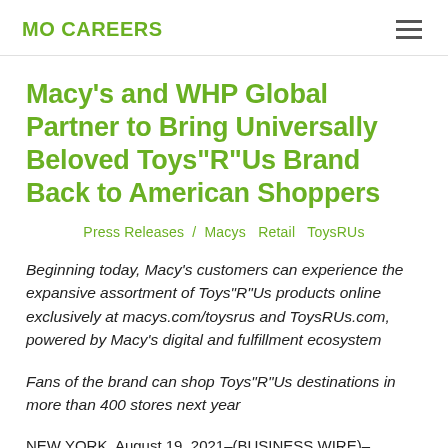MO CAREERS
Macy's and WHP Global Partner to Bring Universally Beloved Toys"R"Us Brand Back to American Shoppers
Press Releases / Macys  Retail  ToysRUs
Beginning today, Macy's customers can experience the expansive assortment of Toys"R"Us products online exclusively at macys.com/toysrus and ToysRUs.com, powered by Macy's digital and fulfillment ecosystem
Fans of the brand can shop Toys"R"Us destinations in more than 400 stores next year
NEW YORK, August 19, 2021–(BUSINESS WIRE)– Macy's, Inc. (NYSE:M) today announced a strategic bi...